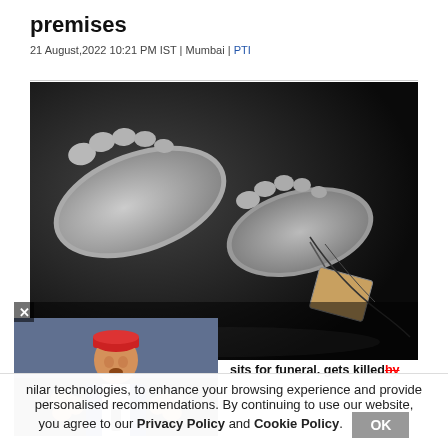premises
21 August,2022 10:21 PM IST | Mumbai | PTI
[Figure (photo): Black and white photo of feet of a deceased person with a tag attached, lying on a dark surface]
[Figure (photo): Photo of a man wearing a red cap and colorful vest speaking at an event, overlaid as a popup]
sits for funeral, gets killed by
nilar technologies, to enhance your browsing experience and provide personalised recommendations. By continuing to use our website, you agree to our Privacy Policy and Cookie Policy.